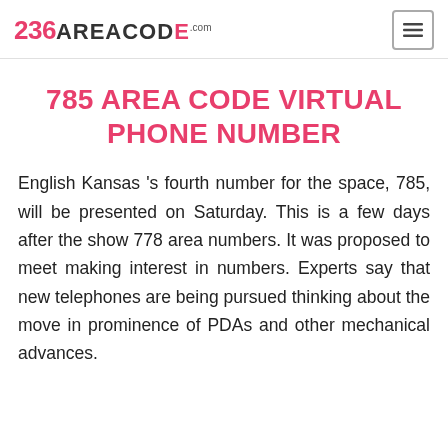236AREACODE.com
785 AREA CODE VIRTUAL PHONE NUMBER
English Kansas 's fourth number for the space, 785, will be presented on Saturday. This is a few days after the show 778 area numbers. It was proposed to meet making interest in numbers. Experts say that new telephones are being pursued thinking about the move in prominence of PDAs and other mechanical advances.